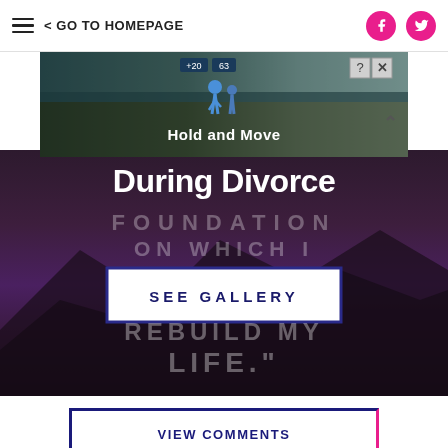GO TO HOMEPAGE
[Figure (screenshot): Advertisement banner showing 'Hold and Move' with icon of two people and a forest/mountain background. Has close (X) and help (?) buttons.]
[Figure (photo): Dark purple mountain landscape hero image with text 'During Divorce', 'FOUNDATION ON WHICH I REBUILD MY LIFE.' overlaid, and a 'SEE GALLERY' button.]
VIEW COMMENTS
Popular in the Community